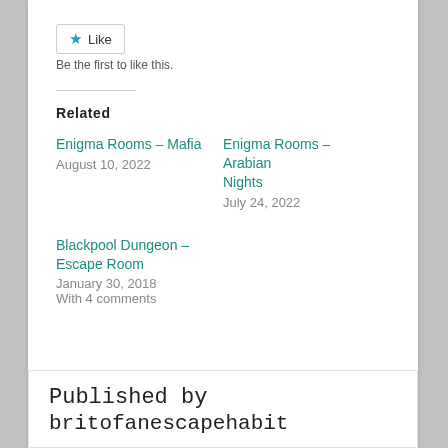[Figure (other): Like button with blue star icon]
Be the first to like this.
Related
Enigma Rooms – Mafia
August 10, 2022
Enigma Rooms – Arabian Nights
July 24, 2022
Blackpool Dungeon – Escape Room
January 30, 2018
With 4 comments
Published by
britofanescapehabit